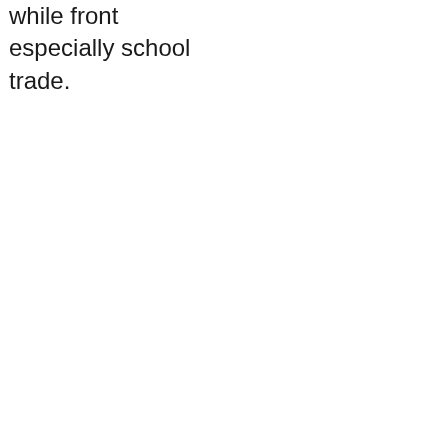while front especially school trade.